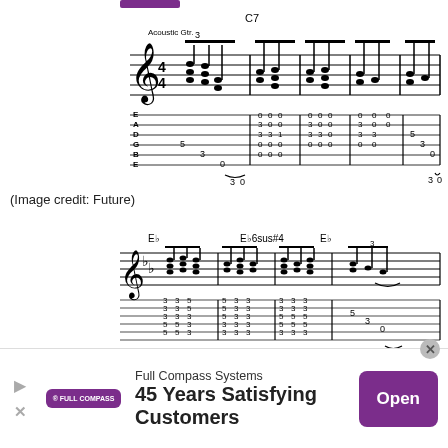[Figure (illustration): Guitar tablature and sheet music notation showing acoustic guitar fingerpicking pattern in C7, with standard notation on treble clef staff above and TAB staff below showing fret numbers (5 3 0, 3-0, and chord clusters with 0s)]
(Image credit: Future)
[Figure (illustration): Guitar tablature and sheet music showing chord progression in Eb, Eb6sus#4, Eb keys with strumming pattern, TAB showing fret numbers (3,3,3,5,5,3,3,3,3,5,5,3,3,1 etc.) and ending with 5 3 0 / 3 0 pattern]
[Figure (illustration): Guitar tablature and sheet music showing chord progression in F, F5, Eb5, C5, CaddF11, C with fret numbers (5,5,5,5,5,9,5,9,5,9 etc.) ending with 2,2,0 pattern]
[Figure (illustration): Advertisement banner for Full Compass Systems: '45 Years Satisfying Customers' with Open button and Full Compass logo]